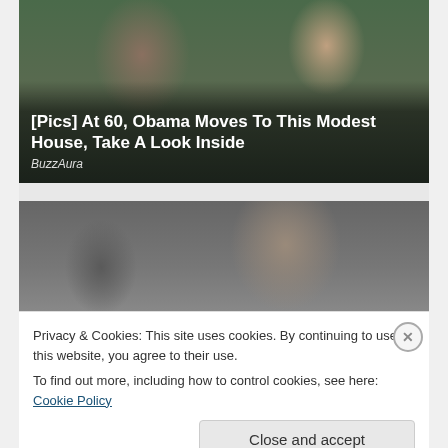[Figure (photo): Photo of two people (man and woman) outdoors with greenery in background, with article title overlay]
[Pics] At 60, Obama Moves To This Modest House, Take A Look Inside
BuzzAura
[Figure (photo): Partial photo of a person with dark hair wearing sunglasses]
Privacy & Cookies: This site uses cookies. By continuing to use this website, you agree to their use.
To find out more, including how to control cookies, see here: Cookie Policy